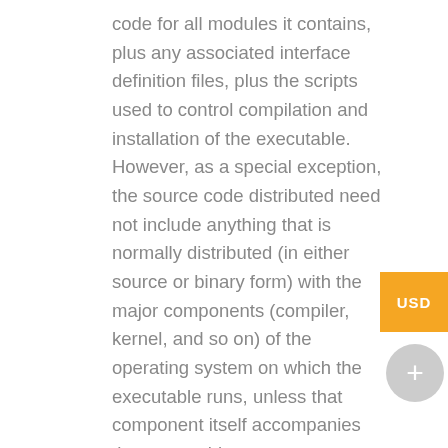code for all modules it contains, plus any associated interface definition files, plus the scripts used to control compilation and installation of the executable. However, as a special exception, the source code distributed need not include anything that is normally distributed (in either source or binary form) with the major components (compiler, kernel, and so on) of the operating system on which the executable runs, unless that component itself accompanies the executable.
If distribution of executable or object code is made by offering access to copy from a designated place, then offering equivalent access to copy the source code from the same place counts as distribution of the source code, even though third parties are not